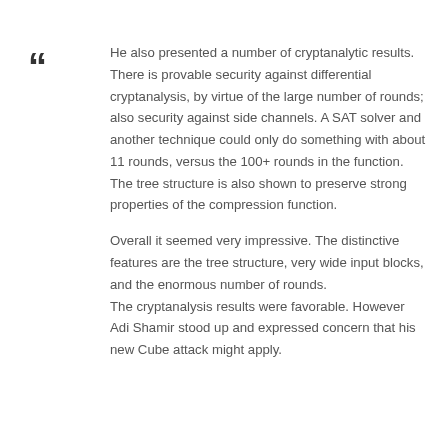He also presented a number of cryptanalytic results. There is provable security against differential cryptanalysis, by virtue of the large number of rounds; also security against side channels. A SAT solver and another technique could only do something with about 11 rounds, versus the 100+ rounds in the function. The tree structure is also shown to preserve strong properties of the compression function.

Overall it seemed very impressive. The distinctive features are the tree structure, very wide input blocks, and the enormous number of rounds. The cryptanalysis results were favorable. However Adi Shamir stood up and expressed concern that his new Cube attack might apply. Discrete log...